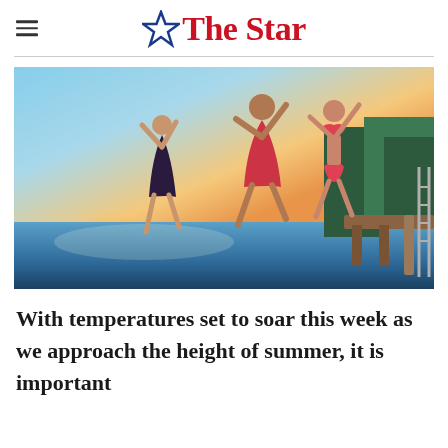The Star
[Figure (photo): Three young people jumping off a wooden dock into a lake at sunset, wearing swimwear, arms raised in joy, with trees and golden sunlight reflecting on the water in the background.]
With temperatures set to soar this week as we approach the height of summer, it is important